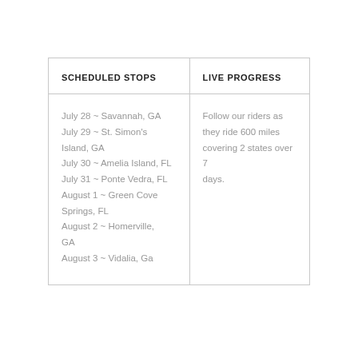| SCHEDULED STOPS | LIVE PROGRESS |
| --- | --- |
| July 28 ~ Savannah, GA
July 29 ~ St. Simon's Island, GA
July 30 ~ Amelia Island, FL
July 31 ~ Ponte Vedra, FL
August 1 ~ Green Cove Springs, FL
August 2 ~ Homerville, GA
August 3 ~ Vidalia, Ga | Follow our riders as they ride 600 miles covering 2 states over 7 days. |